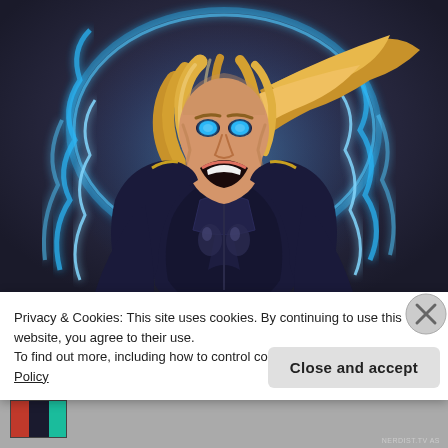[Figure (illustration): Comic book style illustration of a blonde female superhero in a dark armored suit, surrounded by glowing blue lightning/energy arcs. She is screaming with blue eyes glowing, hair flying dramatically. Dark background with swirling blue energy.]
Privacy & Cookies: This site uses cookies. By continuing to use this website, you agree to their use.
To find out more, including how to control cookies, see here: Cookie Policy
Close and accept